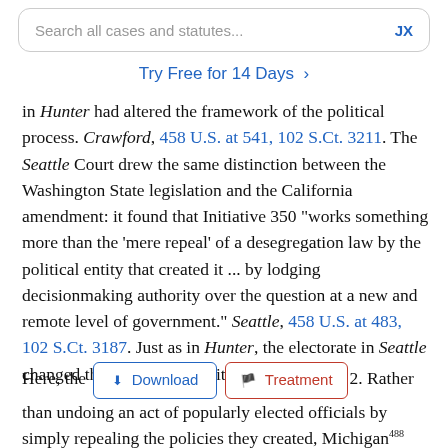Search all cases and statutes... JX
Try Free for 14 Days >
in Hunter had altered the framework of the political process. Crawford, 458 U.S. at 541, 102 S.Ct. 3211. The Seattle Court drew the same distinction between the Washington State legislation and the California amendment: it found that Initiative 350 "works something more than the 'mere repeal' of a desegregation law by the political entity that created it ... by lodging decisionmaking authority over the question at a new and remote level of government." Seattle, 458 U.S. at 483, 102 S.Ct. 3187. Just as in Hunter, the electorate in Seattle changed the rules of the political process.
Here, the [Download] [Treatment] 2. Rather than undoing an act of popularly elected officials by simply repealing the policies they created, Michigan*488